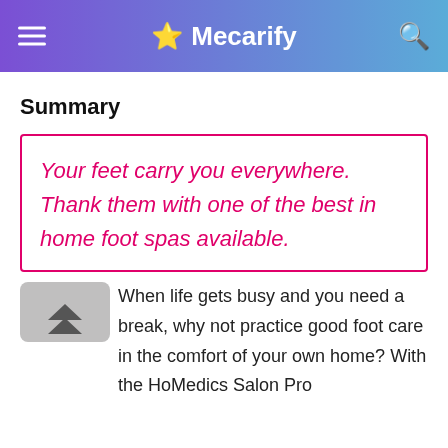Mecarify
Summary
Your feet carry you everywhere. Thank them with one of the best in home foot spas available.
When life gets busy and you need a break, why not practice good foot care in the comfort of your own home? With the HoMedics Salon Pro